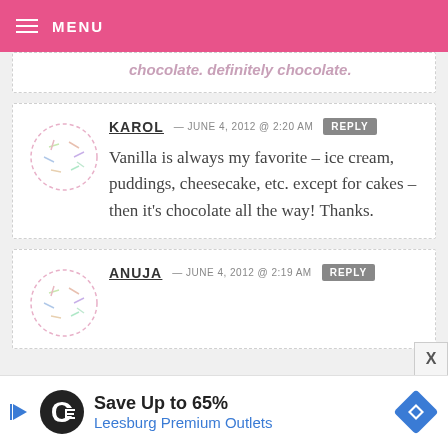MENU
chocolate. definitely chocolate.
KAROL — JUNE 4, 2012 @ 2:20 AM  REPLY
Vanilla is always my favorite – ice cream, puddings, cheesecake, etc. except for cakes – then it's chocolate all the way! Thanks.
ANUJA — JUNE 4, 2012 @ 2:19 AM  REPLY
[Figure (infographic): Advertisement banner: Save Up to 65% Leesburg Premium Outlets]